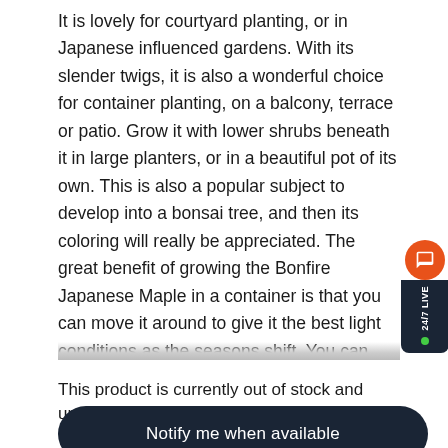It is lovely for courtyard planting, or in Japanese influenced gardens. With its slender twigs, it is also a wonderful choice for container planting, on a balcony, terrace or patio. Grow it with lower shrubs beneath it in large planters, or in a beautiful pot of its own. This is also a popular subject to develop into a bonsai tree, and then its coloring will really be appreciated. The great benefit of growing the Bonfire Japanese Maple in a container is that you can move it around to give it the best light conditions as the seasons shift. You can also make sure it always has enough water. Containers and planters should have drainage holes and
[Figure (other): 24/7 LIVE chat widget button on the right side with orange circle icon and dark background label]
This product is currently out of stock and unavailable.
Notify me when available